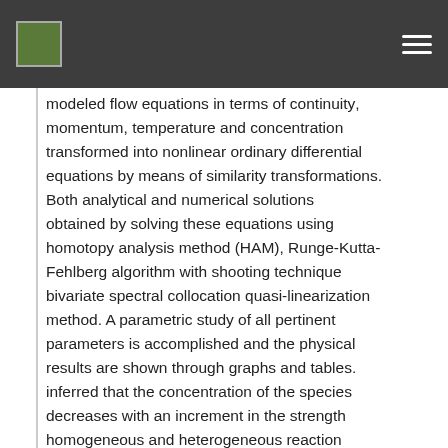modeled flow equations in terms of continuity, momentum, temperature and concentration are transformed into nonlinear ordinary differential equations by means of similarity transformations. Both analytical and numerical solutions are obtained by solving these equations using the homotopy analysis method (HAM), Runge-Kutta-Fehlberg algorithm with shooting technique and bivariate spectral collocation quasi-linearization method. A parametric study of all pertinent parameters is accomplished and the physical results are shown through graphs and tables. It is inferred that the concentration of the species decreases with an increment in the strength of homogeneous and heterogeneous reaction parameters, while the concentration boundary layer thickness increases. Furthermore, at a certain value of dimensionless space variable, the homogeneous and heterogeneous reaction have no effect on the concentration of reactant species, i.e., far from a rigid plate ...